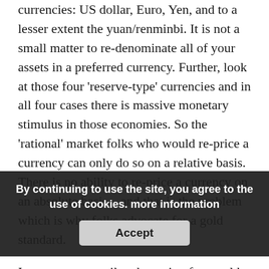currencies: US dollar, Euro, Yen, and to a lesser extent the yuan/renminbi. It is not a small matter to re-denominate all of your assets in a preferred currency. Further, look at those four 'reserve-type' currencies and in all four cases there is massive monetary stimulus in those economies. So the 'rational' market folks who would re-price a currency can only do so on a relative basis. There is no ability to re-price a currency on an absolute basis…and that is the problem which is why folks advocate for a gold standard.
I am not necessarily advocating for a gold standard so much as I am advocating that the discussion actually focus on [obscured] and not on the 'intrinsic value' debate which is, in my opinion, the wrong argument to have.